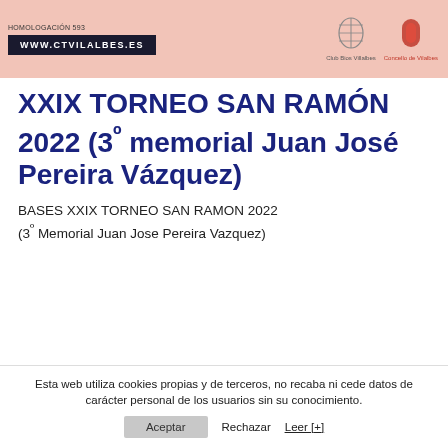[Figure (screenshot): Header banner with pink background, website URL box (www.ctvilalbes.es), Club Bios Villalbes logo, and Concello de Vilalbes logo]
XXIX TORNEO SAN RAMÓN 2022 (3º memorial Juan José Pereira Vázquez)
BASES XXIX TORNEO SAN RAMON 2022 (3º Memorial Juan Jose Pereira Vazquez)
Esta web utiliza cookies propias y de terceros, no recaba ni cede datos de carácter personal de los usuarios sin su conocimiento.
Aceptar  Rechazar  Leer [+]